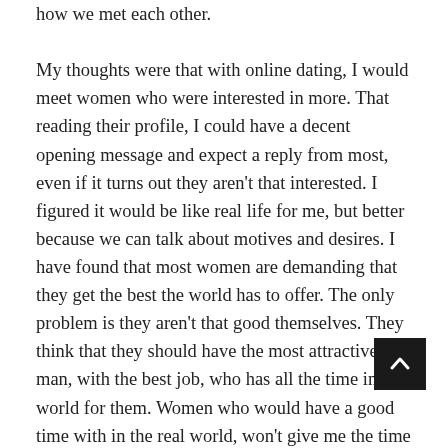how we met each other.

My thoughts were that with online dating, I would meet women who were interested in more. That reading their profile, I could have a decent opening message and expect a reply from most, even if it turns out they aren't that interested. I figured it would be like real life for me, but better because we can talk about motives and desires. I have found that most women are demanding that they get the best the world has to offer. The only problem is they aren't that good themselves. They think that they should have the most attractive man, with the best job, who has all the time in the world for them. Women who would have a good time with in the real world, won't give me the time of day in the internet dating world. I am going to try some different tactics, but I doubt this goes anywhere. Women think that these sites are catalogs of men for them to choose from, and that they can have any one of them that they want. They don't realize that most of the men have